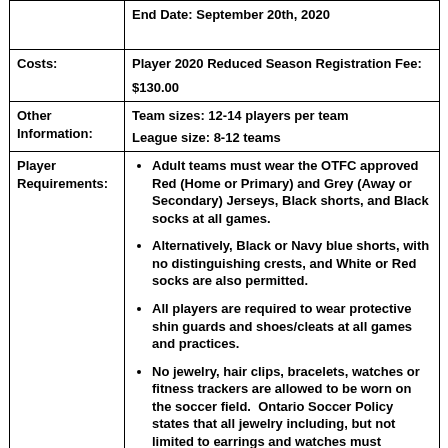|  |  |
| --- | --- |
|  | End Date: September 20th, 2020 |
| Costs: | Player 2020 Reduced Season Registration Fee:
$130.00 |
| Other Information: | Team sizes: 12-14 players per team
League size: 8-12 teams |
| Player Requirements: | • Adult teams must wear the OTFC approved Red (Home or Primary) and Grey (Away or Secondary) Jerseys, Black shorts, and Black socks at all games.
• Alternatively, Black or Navy blue shorts, with no distinguishing crests, and White or Red socks are also permitted.
• All players are required to wear protective shin guards and shoes/cleats at all games and practices.
• No jewelry, hair clips, bracelets, watches or fitness trackers are allowed to be worn on the soccer field. Ontario Soccer Policy states that all jewelry including, but not limited to earrings and watches must |